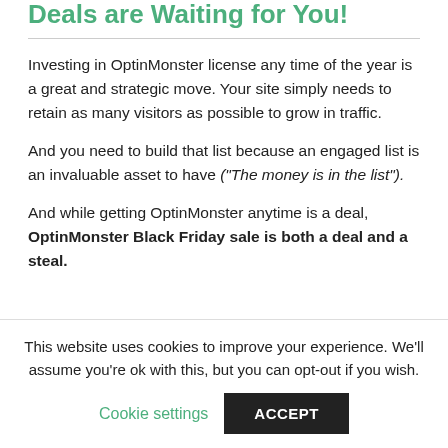Deals are Waiting for You!
Investing in OptinMonster license any time of the year is a great and strategic move. Your site simply needs to retain as many visitors as possible to grow in traffic.
And you need to build that list because an engaged list is an invaluable asset to have ("The money is in the list").
And while getting OptinMonster anytime is a deal, OptinMonster Black Friday sale is both a deal and a steal.
This website uses cookies to improve your experience. We'll assume you're ok with this, but you can opt-out if you wish.
Cookie settings  ACCEPT